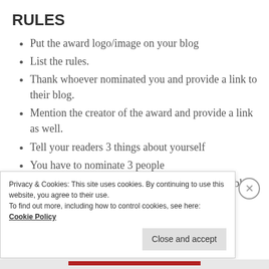RULES
Put the award logo/image on your blog
List the rules.
Thank whoever nominated you and provide a link to their blog.
Mention the creator of the award and provide a link as well.
Tell your readers 3 things about yourself
You have to nominate 3 people
Notify your nominees by commenting on their blog
Privacy & Cookies: This site uses cookies. By continuing to use this website, you agree to their use.
To find out more, including how to control cookies, see here: Cookie Policy
Close and accept